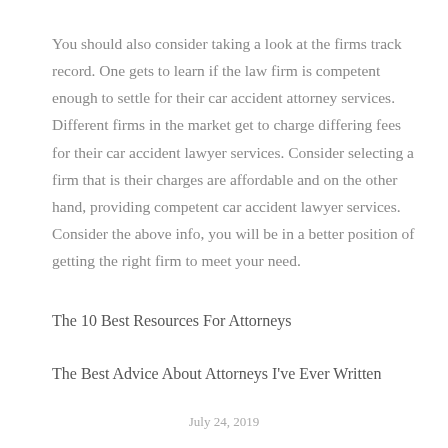You should also consider taking a look at the firms track record. One gets to learn if the law firm is competent enough to settle for their car accident attorney services. Different firms in the market get to charge differing fees for their car accident lawyer services. Consider selecting a firm that is their charges are affordable and on the other hand, providing competent car accident lawyer services. Consider the above info, you will be in a better position of getting the right firm to meet your need.
The 10 Best Resources For Attorneys
The Best Advice About Attorneys I've Ever Written
July 24, 2019